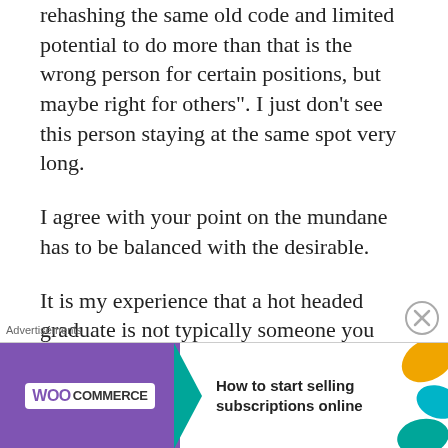rehashing the same old code and limited potential to do more than that is the wrong person for certain positions, but maybe right for others". I just don't see this person staying at the same spot very long.
I agree with your point on the mundane has to be balanced with the desirable.
It is my experience that a hot headed graduate is not typically someone you want on your team because they are not teachable.
[Figure (other): WooCommerce advertisement banner: purple background with WooCommerce logo, teal arrow, text 'How to start selling subscriptions online', decorative shapes on right]